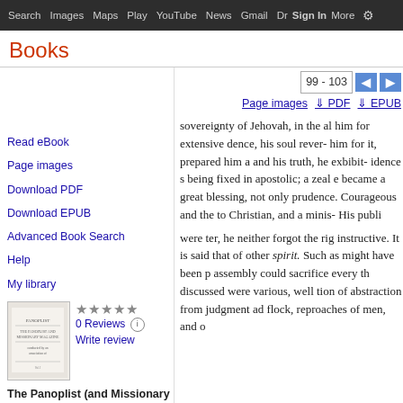Search  Images  Maps  Play  YouTube  News  Gmail  Drive  More  Sign in
Books
Read eBook
Page images
Download PDF
Download EPUB
Advanced Book Search
Help
My library
0 Reviews
Write review
The Panoplist (and Missionary magazine) conducted by an
sovereignty of Jehovah, in the al him for extensive dence, his soul rever- him for it, prepared him a and his truth, he exbibit- idence s being fixed in apostolic; a zeal e became a great blessing, not only prudence. Courageous and the to Christian, and a minis- His publi were ter, he neither forgot the rig instructive. It is said that of other spirit. Such as might have been p assembly could sacrifice every th discussed were various, well tion of abstraction from judgment ad flock, reproaches of men, and o